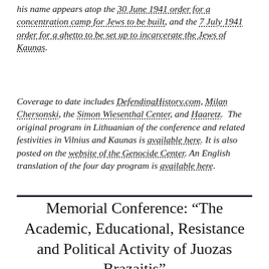his name appears atop the 30 June 1941 order for a concentration camp for Jews to be built, and the 7 July 1941 order for a ghetto to be set up to incarcerate the Jews of Kaunas.
Coverage to date includes DefendingHistory.com, Milan Chersonski, the Simon Wiesenthal Center, and Haaretz. The original program in Lithuanian of the conference and related festivities in Vilnius and Kaunas is available here. It is also posted on the website of the Genocide Center. An English translation of the four day program is available here.
Memorial Conference: “The Academic, Educational, Resistance and Political Activity of Juozas Brazaitis”